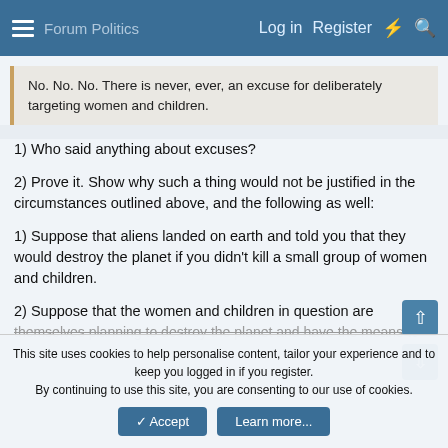Log in  Register
No. No. No. There is never, ever, an excuse for deliberately targeting women and children.
1) Who said anything about excuses?
2) Prove it. Show why such a thing would not be justified in the circumstances outlined above, and the following as well:
1) Suppose that aliens landed on earth and told you that they would destroy the planet if you didn't kill a small group of women and children.
2) Suppose that the women and children in question are themselves planning to destroy the planet and have the means to
This site uses cookies to help personalise content, tailor your experience and to keep you logged in if you register.
By continuing to use this site, you are consenting to our use of cookies.